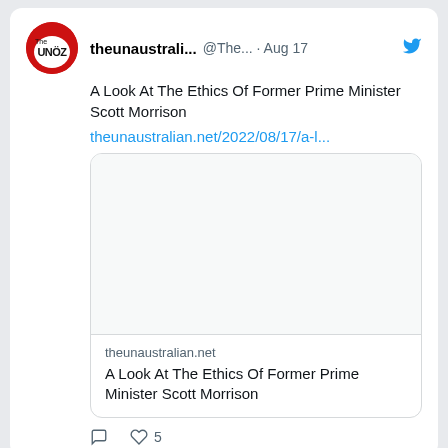[Figure (screenshot): Tweet from theunaustrali... (@The...) dated Aug 17 with Twitter bird icon. Text: 'A Look At The Ethics Of Former Prime Minister Scott Morrison' with link theunaustralian.net/2022/08/17/a-l... and a link preview card showing theunaustralian.net domain and title 'A Look At The Ethics Of Former Prime Minister Scott Morrison'. Actions show 0 comments and 5 likes.]
[Figure (screenshot): Second tweet from theunaustrali... (@The...) dated Aug 17 with Twitter bird icon. Text starts: 'BREAKING: Morrison To Hold Midday Press Conference Timed To A...']